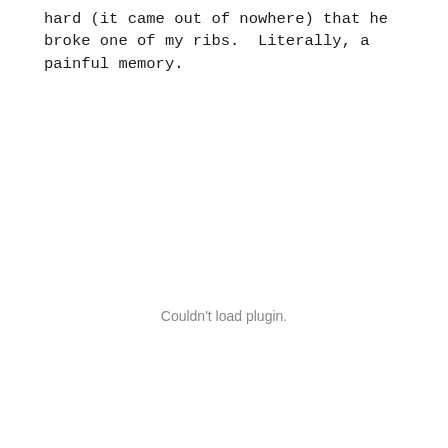hard (it came out of nowhere) that he broke one of my ribs.  Literally, a painful memory.
Couldn't load plugin.